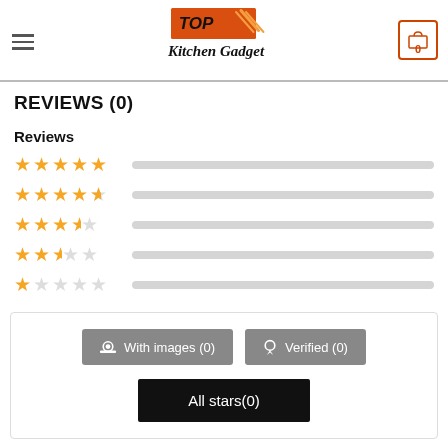Top Kitchen Gadget — navigation header with logo and cart
REVIEWS (0)
Reviews
[Figure (other): Star rating bars: 5-star, 4-star, 3-star, 2-star, 1-star rows with gold stars and grey progress bars]
With images (0)   Verified (0)   All stars(0)